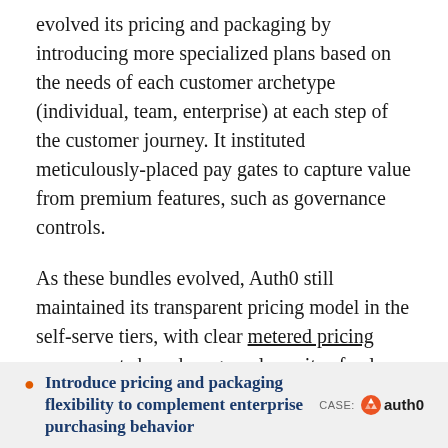evolved its pricing and packaging by introducing more specialized plans based on the needs of each customer archetype (individual, team, enterprise) at each step of the customer journey. It instituted meticulously-placed pay gates to capture value from premium features, such as governance controls.
As these bundles evolved, Auth0 still maintained its transparent pricing model in the self-serve tiers, with clear metered pricing components based on granular units of value (e.g. rule limits), but allowed for more flexibility in the enterprise tier. That way, sales teams could accommodate conversations around enterprise discounting, custom commitment terms, and other topics that require more negotiation.
Introduce pricing and packaging flexibility to complement enterprise purchasing behavior